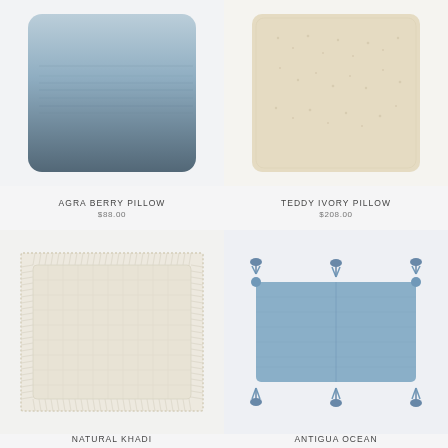[Figure (photo): Agra Berry Pillow - square pillow with blue-gray ombre gradient textile, darker at bottom, lighter at top with subtle horizontal stripe texture]
[Figure (photo): Teddy Ivory Pillow - square pillow with soft cream/ivory textured boucle fabric]
AGRA BERRY PILLOW
$88.00
TEDDY IVORY PILLOW
$208.00
[Figure (photo): Natural Khadi pillow - square cream/off-white woven pillow with fringe trim around edges]
[Figure (photo): Antigua Ocean pillow - rectangular light blue/denim colored pillow with blue tassels at all four corners and center seam]
NATURAL KHADI
ANTIGUA OCEAN